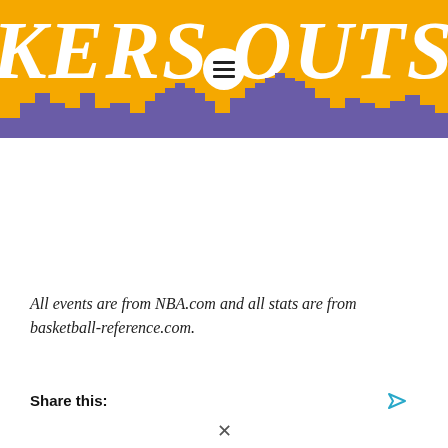[Figure (illustration): Lakers Outside blog header banner with gold/yellow background, large white italic bold text reading 'KERS OUTSIDE' (partially cropped), purple city skyline silhouette at bottom, and hamburger menu icon in a white circle in the center]
All events are from NBA.com and all stats are from basketball-reference.com.
Share this: